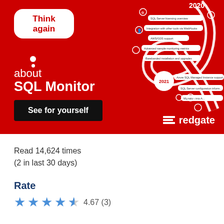[Figure (illustration): Red banner advertisement for Redgate SQL Monitor. Left side has a white thought bubble with 'Think again' in red text, followed by 'about SQL Monitor' in white text, and a black 'See for yourself' button. Right side shows a spiral timeline with years 2020 and 2021 and feature pill labels. Bottom right shows the Redgate logo in white.]
Read 14,624 times
(2 in last 30 days)
Rate
4.67 (3)